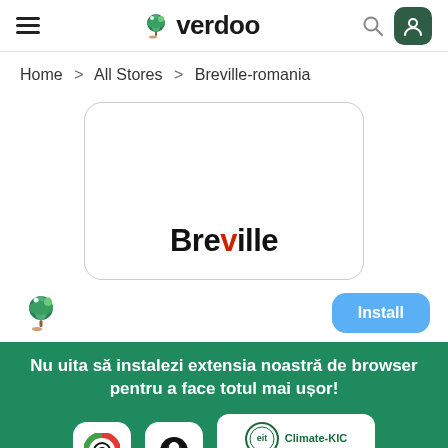Verdoo — header with hamburger menu, logo, search, and user button
Home > All Stores > Breville-romania
[Figure (logo): Breville logo inside a rounded white card with border]
[Figure (screenshot): Install button and small verdoo icon]
Nu uita să instalezi extensia noastră de browser pentru a face totul mai ușor!
[Figure (screenshot): Chrome and Firefox browser extension icons, plus EIT Climate-KIC co-funded by the European Union badge]